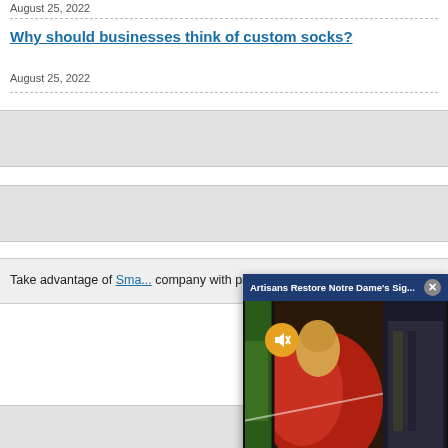August 25, 2022
Why should businesses think of custom socks?
August 25, 2022
[Figure (other): Gray placeholder block]
[Figure (other): Gray placeholder block]
Take advantage of Sma... company with professio...
[Figure (screenshot): Video popup overlay showing 'Artisans Restore Notre Dame's Sig...' with a stained glass image, mute button, and close button]
[Figure (other): Gray placeholder block at bottom]